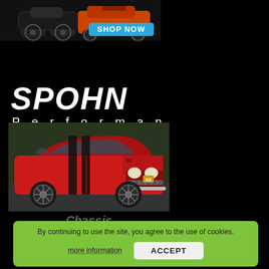[Figure (photo): Shop Now banner with classic cars (old roadster and orange muscle car) and a blue 'SHOP NOW' button]
[Figure (logo): Spohn Performance logo with bold italic white SPOHN text and 'Performance' subtitle]
[Figure (photo): Red Chevrolet Chevelle SS muscle car with black racing stripes, photographed from front-left angle]
Chassis
Suspension
Drivetrain
By continuing to use the site, you agree to the use of cookies.
more information
ACCEPT